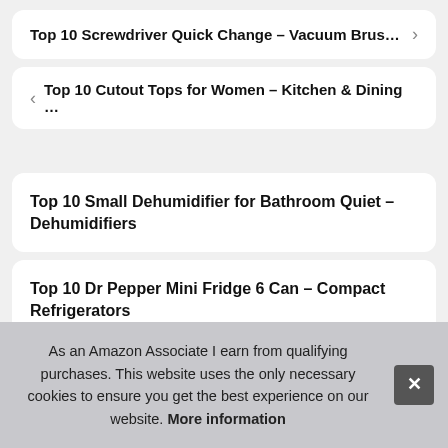Top 10 Screwdriver Quick Change – Vacuum Brus…
Top 10 Cutout Tops for Women – Kitchen & Dining …
Top 10 Small Dehumidifier for Bathroom Quiet – Dehumidifiers
Top 10 Dr Pepper Mini Fridge 6 Can – Compact Refrigerators
As an Amazon Associate I earn from qualifying purchases. This website uses the only necessary cookies to ensure you get the best experience on our website. More information